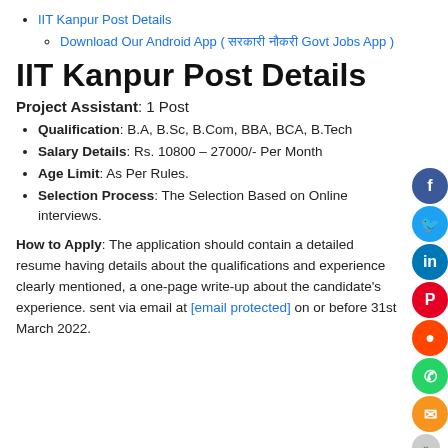IIT Kanpur Post Details
Download Our Android App ( सरकारी नौकरी Govt Jobs App )
IIT Kanpur Post Details
Project Assistant: 1 Post
Qualification: B.A, B.Sc, B.Com, BBA, BCA, B.Tech
Salary Details: Rs. 10800 – 27000/- Per Month
Age Limit: As Per Rules.
Selection Process: The Selection Based on Online interviews.
How to Apply: The application should contain a detailed resume having details about the qualifications and experience clearly mentioned, a one-page write-up about the candidate's experience. sent via email at [email protected] on or before 31st March 2022.